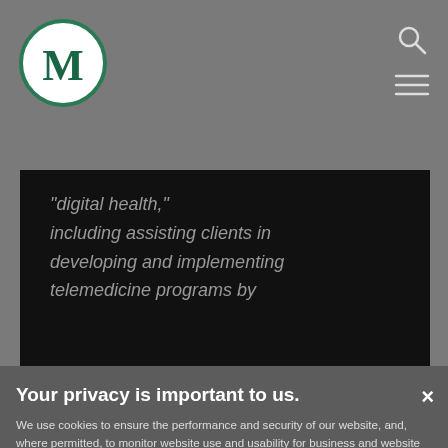[Figure (logo): Circular logo with letter M in dark green on white background]
[Figure (other): Search icon (magnifying glass) and hamburger menu icon in top right]
"digital health," including assisting clients in developing and implementing telemedicine programs by
Your privacy is important to us.
We use cookies to ensure the performance and security of our website, and, where permitted, to monitor website use and usability for business and website optimization purposes. For further information on the cookies we use, please click on "Cookie Settings". You can adjust your cookie settings at any time by selecting "Cookie Settings" in the footer of the website.
Cookie Settings
Accept All Cookies